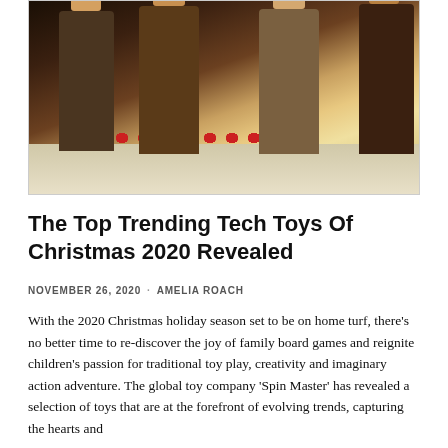[Figure (photo): Photograph of four LEGO minifigures standing on a surface with small red and white LEGO pieces scattered around them. The figures appear to be action/adventure characters, photographed with a shallow depth of field on a warm-toned background.]
The Top Trending Tech Toys Of Christmas 2020 Revealed
NOVEMBER 26, 2020 · AMELIA ROACH
With the 2020 Christmas holiday season set to be on home turf, there's no better time to re-discover the joy of family board games and reignite children's passion for traditional toy play, creativity and imaginary action adventure. The global toy company 'Spin Master' has revealed a selection of toys that are at the forefront of evolving trends, capturing the hearts and